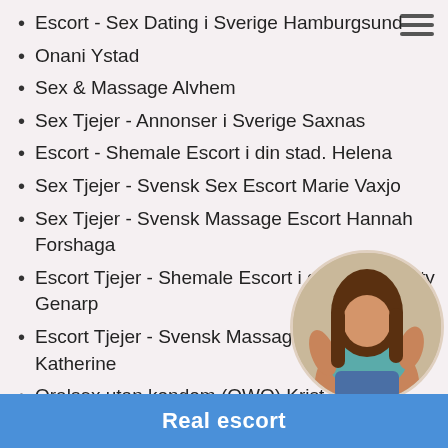Escort - Sex Dating i Sverige Hamburgsund
Onani Ystad
Sex & Massage Alvhem
Sex Tjejer - Annonser i Sverige Saxnas
Escort - Shemale Escort i din stad. Helena
Sex Tjejer - Svensk Sex Escort Marie Vaxjo
Sex Tjejer - Svensk Massage Escort Hannah Forshaga
Escort Tjejer - Shemale Escort i din stad. Trinity Genarp
Escort Tjejer - Svensk Massage Escort Katherine
Oralsex utan kondom (OWO) Krist...
[Figure (photo): Circular cropped photo of a woman in casual clothing]
Real escort